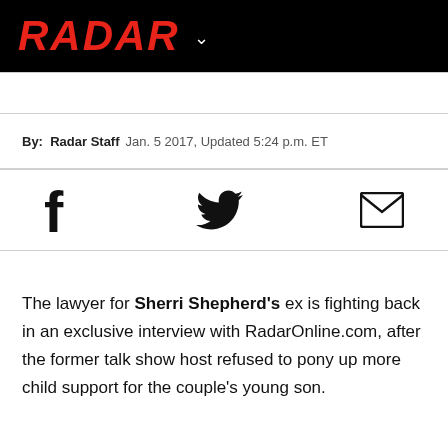RADAR
By: Radar Staff  Jan. 5 2017, Updated 5:24 p.m. ET
[Figure (other): Social sharing icons: Facebook, Twitter, Email]
The lawyer for Sherri Shepherd's ex is fighting back in an exclusive interview with RadarOnline.com, after the former talk show host refused to pony up more child support for the couple's young son.